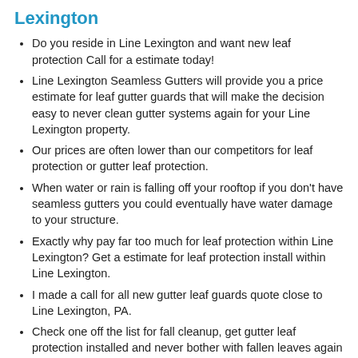Lexington
Do you reside in Line Lexington and want new leaf protection Call for a estimate today!
Line Lexington Seamless Gutters will provide you a price estimate for leaf gutter guards that will make the decision easy to never clean gutter systems again for your Line Lexington property.
Our prices are often lower than our competitors for leaf protection or gutter leaf protection.
When water or rain is falling off your rooftop if you don't have seamless gutters you could eventually have water damage to your structure.
Exactly why pay far too much for leaf protection within Line Lexington? Get a estimate for leaf protection install within Line Lexington.
I made a call for all new gutter leaf guards quote close to Line Lexington, PA.
Check one off the list for fall cleanup, get gutter leaf protection installed and never bother with fallen leaves again in Line Lexington, PA.
Do you need new gutters in the following zip codes: 18932.